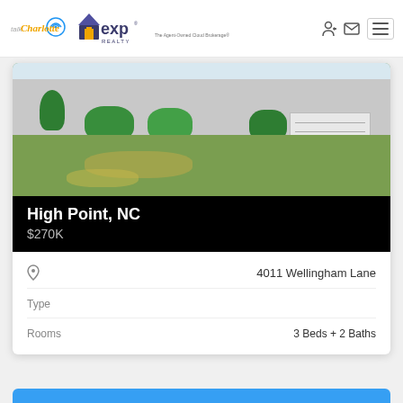Talk Charlotte / eXp Realty - The Agent-Owned Cloud Brokerage
[Figure (photo): Exterior photo of a single-story residential home with green lawn, shrubs, and a white garage]
High Point, NC
$270K
4011 Wellingham Lane
Type
Rooms
3 Beds + 2 Baths